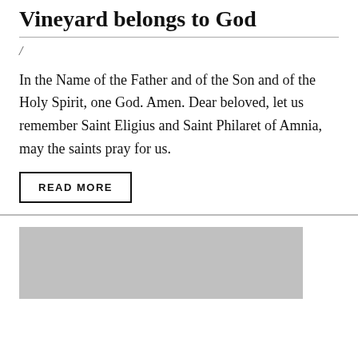Vineyard belongs to God
/
In the Name of the Father and of the Son and of the Holy Spirit, one God. Amen. Dear beloved, let us remember Saint Eligius and Saint Philaret of Amnia, may the saints pray for us.
READ MORE
[Figure (photo): Gray placeholder image block at bottom of page]